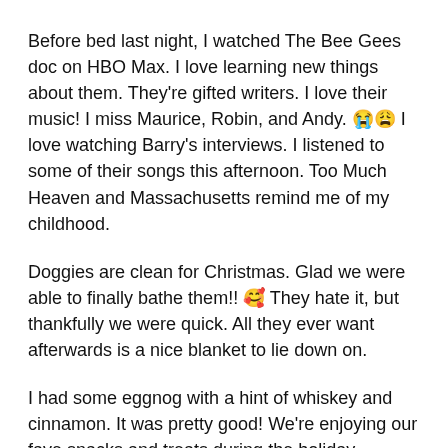Before bed last night, I watched The Bee Gees doc on HBO Max. I love learning new things about them. They're gifted writers. I love their music! I miss Maurice, Robin, and Andy. 😭😩 I love watching Barry's interviews. I listened to some of their songs this afternoon. Too Much Heaven and Massachusetts remind me of my childhood.
Doggies are clean for Christmas. Glad we were able to finally bathe them!! 🥰 They hate it, but thankfully we were quick. All they ever want afterwards is a nice blanket to lie down on.
I had some eggnog with a hint of whiskey and cinnamon. It was pretty good! We're enjoying our fave snacks and treats during the holiday season. It's a unique one this year, but we're making the most of it.
Lastly, I finally opened my Hello Kitty Tamagotchi! It's so small compared to the original. It's still fun though.